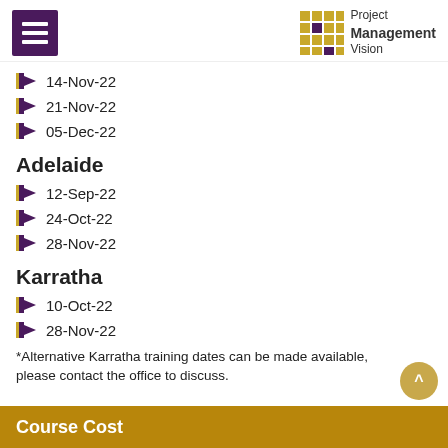[Figure (logo): Hamburger menu icon (purple) and Project Management Vision logo with grid of gold/purple squares]
14-Nov-22
21-Nov-22
05-Dec-22
Adelaide
12-Sep-22
24-Oct-22
28-Nov-22
Karratha
10-Oct-22
28-Nov-22
*Alternative Karratha training dates can be made available, please contact the office to discuss.
Course Cost